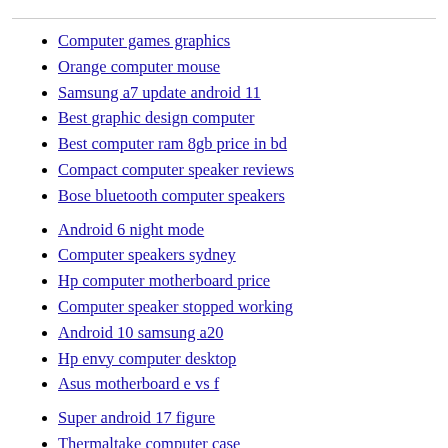Computer games graphics
Orange computer mouse
Samsung a7 update android 11
Best graphic design computer
Best computer ram 8gb price in bd
Compact computer speaker reviews
Bose bluetooth computer speakers
Android 6 night mode
Computer speakers sydney
Hp computer motherboard price
Computer speaker stopped working
Android 10 samsung a20
Hp envy computer desktop
Asus motherboard e vs f
Super android 17 figure
Thermaltake computer case
Computer keyboard name list
Can fan control asus motherboard rgb
Computer mouse lessons
Walgreens computer mouse
Vpn for dell computer